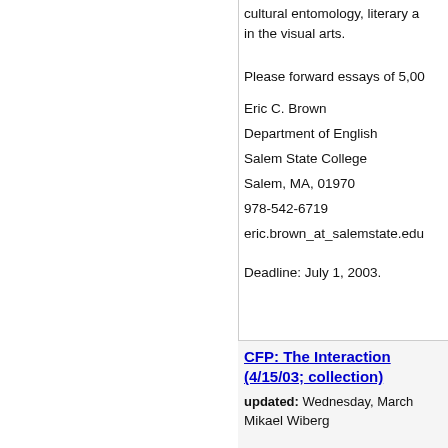cultural entomology, literary a... in the visual arts.
Please forward essays of 5,00...
Eric C. Brown
Department of English
Salem State College
Salem, MA, 01970
978-542-6719
eric.brown_at_salemstate.edu
Deadline: July 1, 2003.
CFP: The Interaction... (4/15/03; collection)
updated: Wednesday, March...
Mikael Wiberg